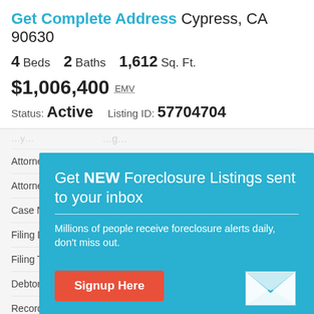Get Complete Address Cypress, CA 90630
4 Beds  2 Baths  1,612 Sq. Ft.
$1,006,400 EMV
Status: Active   Listing ID: 57704704
Attorney State: Sign in to view
Attorney Zip:
Case Number:
Filing Date:
Filing Type:
Debtor Name:
Record Type:
[Figure (infographic): Popup modal with teal background promoting foreclosure listing email alerts. Contains heading 'Get NEW Foreclosure Listings sent to your inbox', subtext 'Millions of people receive foreclosure alerts daily, don’t miss out.', a red 'Signup Here' button, a white envelope icon, and footer text 'No Thanks | Remind Me Later'.]
Credit Information Center
Want to know your FICO score?
Click here